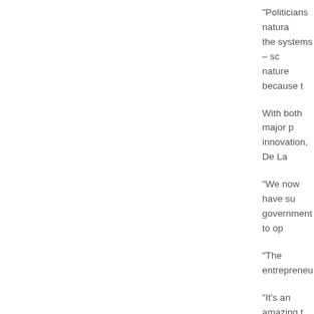“Politicians natura the systems – sc nature because t
With both major p innovation, De La
“We now have su government to op
“The entrepreneu
“It’s an amazing t
Want to grow you
SHARE THIS A
Tweet